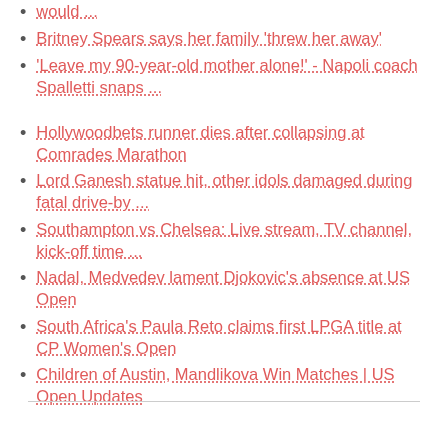would ...
Britney Spears says her family 'threw her away'
'Leave my 90-year-old mother alone!' - Napoli coach Spalletti snaps ...
Hollywoodbets runner dies after collapsing at Comrades Marathon
Lord Ganesh statue hit, other idols damaged during fatal drive-by ...
Southampton vs Chelsea: Live stream, TV channel, kick-off time ...
Nadal, Medvedev lament Djokovic's absence at US Open
South Africa's Paula Reto claims first LPGA title at CP Women's Open
Children of Austin, Mandlikova Win Matches | US Open Updates